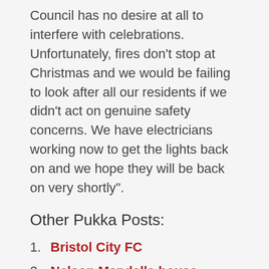Council has no desire at all to interfere with celebrations. Unfortunately, fires don't stop at Christmas and we would be failing to look after all our residents if we didn't act on genuine safety concerns. We have electricians working now to get the lights back on and we hope they will be back on very shortly”.
Other Pukka Posts:
Bristol City FC
Nelson Mandella house
Harlech Tower
Nelson Mandela House
Del Boys Nelson Mandella House Costs £1200 to rent!
Categories: News, Only Fools and Horses